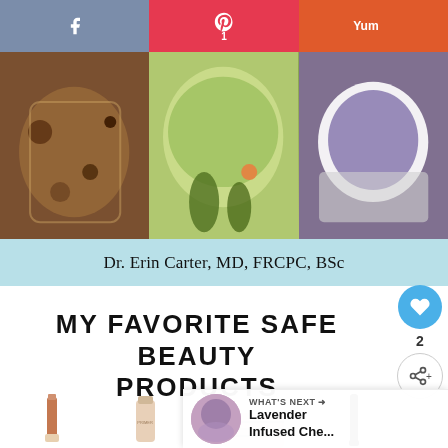[Figure (screenshot): Social sharing bar with Facebook (blue-grey), Pinterest (red) with '1', and Yummly (orange) buttons]
[Figure (photo): Three food photos side by side: granola/nuts in jar, green smoothie/dip with herbs, purple mashed food in white bowl on stone surface]
Dr. Erin Carter, MD, FRCPC, BSc
MY FAVORITE SAFE BEAUTY PRODUCTS
[Figure (photo): Beauty product photos at bottom: lip gloss tube, foundation/cream tube, striped makeup bag, mascara]
[Figure (screenshot): What's Next widget: thumbnail of lavender dish, label 'WHAT'S NEXT →', title 'Lavender Infused Che...']